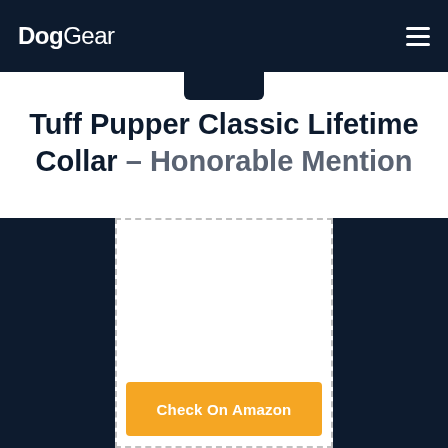DogGear
Tuff Pupper Classic Lifetime Collar – Honorable Mention
[Figure (other): Product card with dashed border placeholder image area and orange 'Check On Amazon' button, flanked by dark navy side panels]